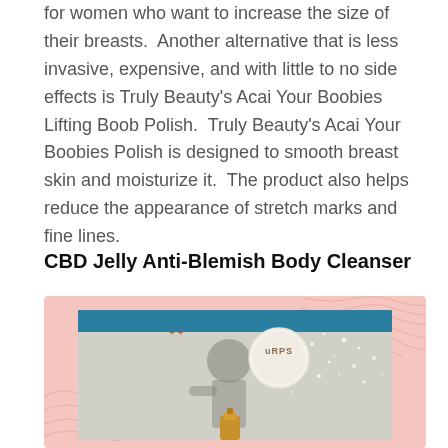for women who want to increase the size of their breasts.  Another alternative that is less invasive, expensive, and with little to no side effects is Truly Beauty's Acai Your Boobies Lifting Boob Polish.  Truly Beauty's Acai Your Boobies Polish is designed to smooth breast skin and moisturize it.  The product also helps reduce the appearance of stretch marks and fine lines.
CBD Jelly Anti-Blemish Body Cleanser
[Figure (photo): Product image for CBD Jelly Anti-Blemish Body Cleanser showing a person showering with water splashing, a gold bottle product, and a circular URPS logo badge overlaid on a pink decorative background with wavy lines.]